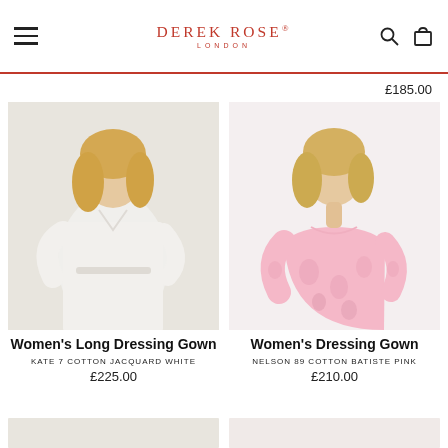DEREK ROSE® LONDON
£185.00
[Figure (photo): Woman wearing a white long dressing gown (Kate 7 Cotton Jacquard White) posing against a light grey background]
[Figure (photo): Woman wearing a pink floral dressing gown (Nelson 89 Cotton Batiste Pink) posing against a light grey background]
Women's Long Dressing Gown
KATE 7 COTTON JACQUARD WHITE
£225.00
Women's Dressing Gown
NELSON 89 COTTON BATISTE PINK
£210.00